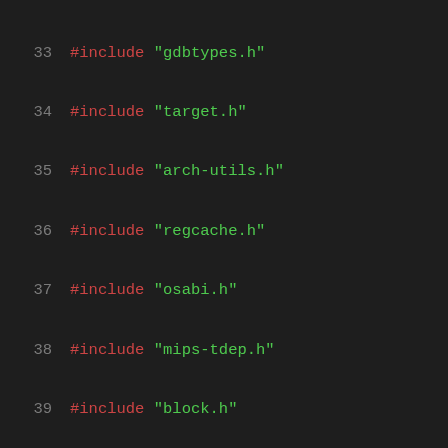[Figure (screenshot): Source code listing showing C/C++ #include directives, lines 33-54, with line numbers in gray, #include keyword in red, and file names in green, on a dark background.]